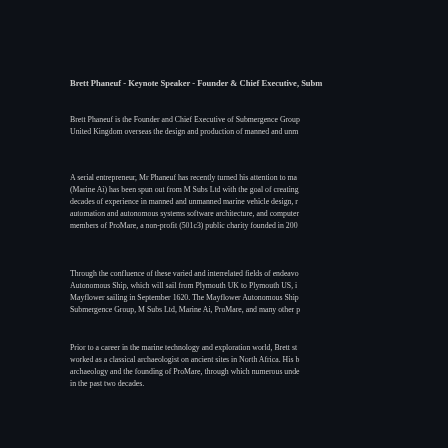Brett Phaneuf - Keynote Speaker - Founder & Chief Executive, Subm...
Brett Phaneuf is the Founder and Chief Executive of Submergence Group... United Kingdom overseas the design and production of manned and unm...
A serial entrepreneur, Mr Phaneuf has recently turned his attention to ma... (Marine Ai) has been spun out from M Subs Ltd with the goal of creating... decades of experience in manned and unmanned marine vehicle design, r... automation and autonomous systems software architecture, and computer... members of ProMare, a non-profit (501c3) public charity founded in 200...
Through the confluence of these varied and interrelated fields of endeavo... Autonomous Ship, which will sail from Plymouth UK to Plymouth US, i... Mayflower sailing in September 1620. The Mayflower Autonomous Ship... Submergence Group, M Subs Ltd, Marine Ai, ProMare, and many other p...
Prior to a career in the marine technology and exploration world, Brett st... worked as a classical archaeologist on ancient sites in North Africa. His b... archaeology and the founding of ProMare, through which numerous unde... in the past two decades.